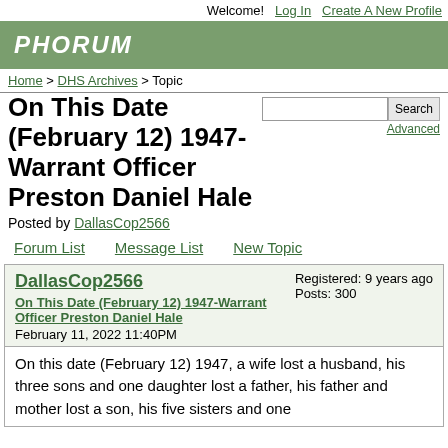Welcome!  Log In  Create A New Profile
[Figure (logo): Phorum logo on green banner background]
Home > DHS Archives > Topic
On This Date (February 12) 1947-Warrant Officer Preston Daniel Hale
Posted by DallasCop2566
Forum List   Message List   New Topic
DallasCop2566
On This Date (February 12) 1947-Warrant Officer Preston Daniel Hale
February 11, 2022 11:40PM
Registered: 9 years ago
Posts: 300
On this date (February 12) 1947, a wife lost a husband, his three sons and one daughter lost a father, his father and mother lost a son, his five sisters and one